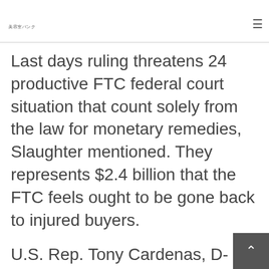美容室バンク
Last days ruling threatens 24 productive FTC federal court situation that count solely from the law for monetary remedies, Slaughter mentioned. They represents $2.4 billion that the FTC feels ought to be gone back to injured buyers.
U.S. Rep. Tony Cardenas, D-Calif., introduced the Consumer security and recuperation operate a week ago that would clearly verify the FTCs capacity to search long lasting injunctions and othe